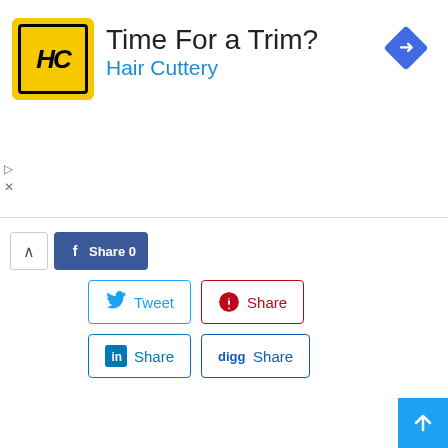[Figure (screenshot): Hair Cuttery advertisement banner with yellow logo, 'Time For a Trim?' headline, and navigation icon]
[Figure (screenshot): Social sharing buttons: Facebook Share 0, Tweet, Pinterest Share, LinkedIn Share, Digg Share]
[Figure (screenshot): Four social media icon squares: Facebook (blue), Twitter (light blue), Pinterest (red), WhatsApp (green)]
Previous article
UFONE SMS PACKAGES | DAILY, WEEKLY, MONTHLY, FORTNIGHTLY
Next article
Romantic New Year SMS | Greeting, Wishes & Quotes 2016